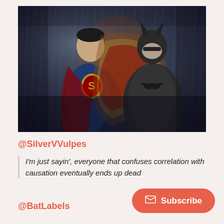[Figure (photo): Movie promotional image showing Superman (in blue suit with S logo) and Batman (in dark armored suit) facing each other against a dark rainy background — Batman v Superman: Dawn of Justice]
@SilverVVulpes
I'm just sayin', everyone that confuses correlation with causation eventually ends up dead
@BatLabels